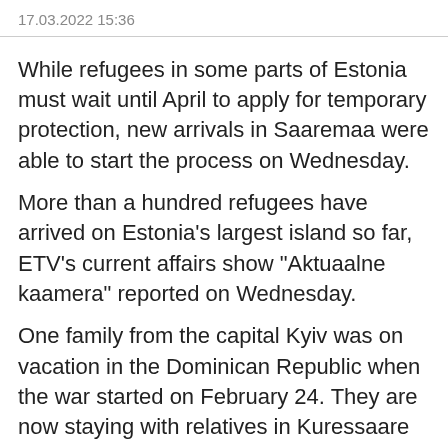17.03.2022 15:36
While refugees in some parts of Estonia must wait until April to apply for temporary protection, new arrivals in Saaremaa were able to start the process on Wednesday.
More than a hundred refugees have arrived on Estonia's largest island so far, ETV's current affairs show "Aktuaalne kaamera" reported on Wednesday.
One family from the capital Kyiv was on vacation in the Dominican Republic when the war started on February 24. They are now staying with relatives in Kuressaare and spoke to AK.
"Initially, we will wait and then look ahead. Now, our companies are working in Ukraine and we can work remotely from here. Perhaps we can work there